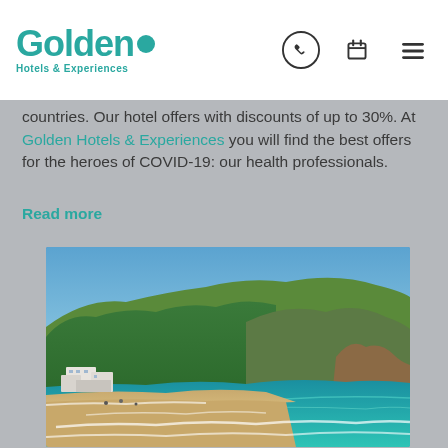Golden Hotels & Experiences — logo and navigation icons
countries. Our hotel offers with discounts of up to 30%. At Golden Hotels & Experiences you will find the best offers for the heroes of COVID-19: our health professionals.
Read more
[Figure (photo): Aerial view of a coastal resort area with sandy beach, turquoise sea, rocky cliffs covered in green forest, and white hotel buildings in Tossa de Mar, Costa Brava style Mediterranean coast.]